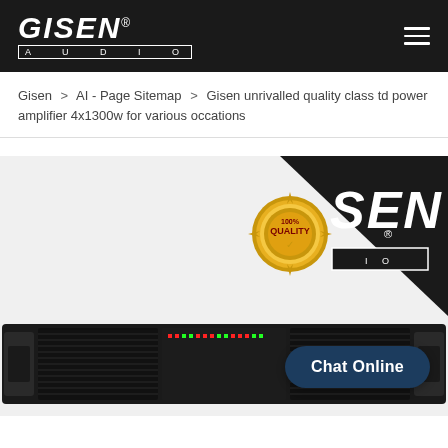GISEN® AUDIO
Gisen > AI - Page Sitemap > Gisen unrivalled quality class td power amplifier 4x1300w for various occations
[Figure (photo): Product photo of Gisen Audio class td power amplifier 4x1300w, a rack-mount unit shown in black chassis with front panel controls and ventilation grille. A '100% Quality' gold badge seal is visible at the top center. The Gisen Audio logo appears in the top right corner of the image background. A 'Chat Online' button overlays the bottom right of the image.]